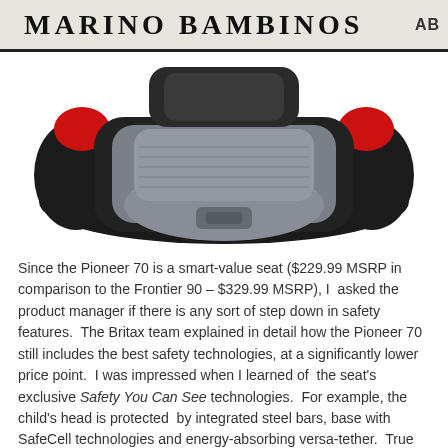MARINO BAMBINOS  AB
[Figure (photo): Top-down view of a Britax Pioneer 70 car seat booster, showing gray fabric seat padding with black plastic base and red accents on the sides.]
Since the Pioneer 70 is a smart-value seat ($229.99 MSRP in comparison to the Frontier 90 – $329.99 MSRP), I asked the product manager if there is any sort of step down in safety features.  The Britax team explained in detail how the Pioneer 70 still includes the best safety technologies, at a significantly lower price point.  I was impressed when I learned of the seat's exclusive Safety You Can See technologies.  For example, the child's head is protected by integrated steel bars, base with SafeCell technologies and energy-absorbing versa-tether.  True Side Impact Protection provides deep side walls, and a head restraint with energy-absorbing EPS foam to distribute crash forces, which forces which interior and constraint the head and...